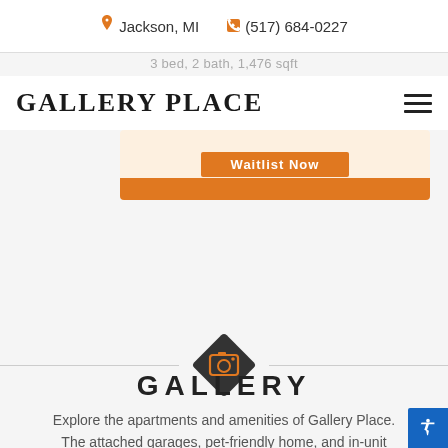Jackson, MI   (517) 684-0227
3 bed, 2 bath, 1,476 sqft
Gallery Place
Waitlist Now
[Figure (illustration): Diamond-shaped dark icon with an orange camera symbol, flanked by horizontal divider lines]
GALLERY
Explore the apartments and amenities of Gallery Place. The attached garages, pet-friendly home, and in-unit washer/dryer make for your perfect place close to it all